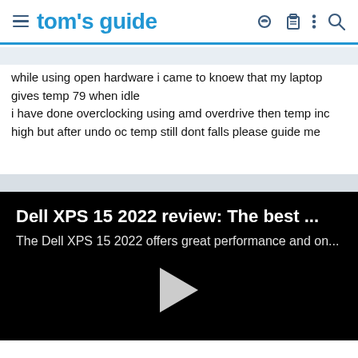tom's guide
while using open hardware i came to knoew that my laptop gives temp 79 when idle
i have done overclocking using amd overdrive then temp inc high but after undo oc temp still dont falls please guide me
[Figure (screenshot): Embedded video thumbnail: Dell XPS 15 2022 review: The best ... — The Dell XPS 15 2022 offers great performance and on... with a play button in the center on a black background.]